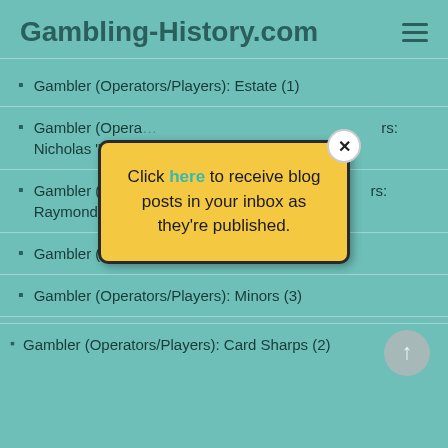Gambling-History.com
Gambler (Operators/Players): Estate (1)
Gambler (Operators/Players): Famous Gamblers: Nicholas "Nick the Greek" A. Da...
[Figure (screenshot): Yellow popup modal with close button (X). Text reads: 'Click here to receive blog posts in your inbox as they're published.' The word 'here' is in teal/green color.]
Gambler (Operators/Players): Famous Gamblers: Raymond "Ray" J. Ryan (1)
Gambler (Operators/Players): Memoirs (1)
Gambler (Operators/Players): Minors (3)
Gambler (Operators/Players): Card Sharps (2)